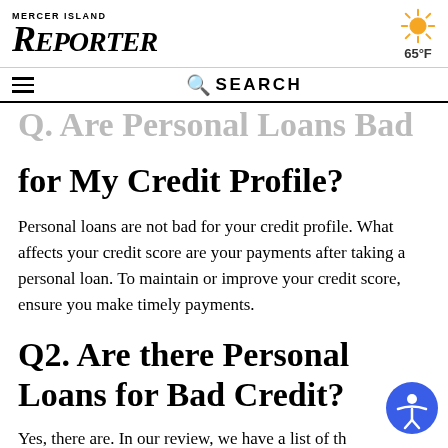Mercer Island Reporter — 65°F
Q2. Are Personal Loans Bad for My Credit Profile?
Personal loans are not bad for your credit profile. What affects your credit score are your payments after taking a personal loan. To maintain or improve your credit score, ensure you make timely payments.
Q2. Are there Personal Loans for Bad Credit?
Yes, there are. In our review, we have a list of the best lending platforms. Based on your needs, you